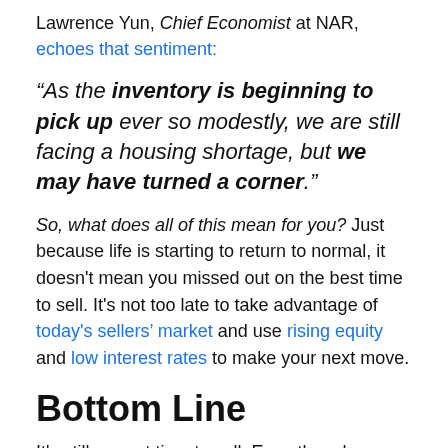Lawrence Yun, Chief Economist at NAR, echoes that sentiment:
“As the inventory is beginning to pick up ever so modestly, we are still facing a housing shortage, but we may have turned a corner.”
So, what does all of this mean for you? Just because life is starting to return to normal, it doesn’t mean you missed out on the best time to sell. It’s not too late to take advantage of today’s sellers’ market and use rising equity and low interest rates to make your next move.
Bottom Line
It’s still a great time to sell. Even though housing supply is